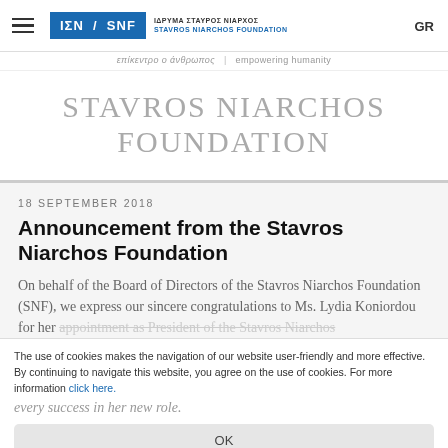ΙΣΝ / SNF | ΙΔΡΥΜΑ ΣΤΑΥΡΟΣ ΝΙΑΡΧΟΣ STAVROS NIARCHOS FOUNDATION | GR
επίκεντρο ο άνθρωπος | empowering humanity
STAVROS NIARCHOS FOUNDATION
18 SEPTEMBER 2018
Announcement from the Stavros Niarchos Foundation
On behalf of the Board of Directors of the Stavros Niarchos Foundation (SNF), we express our sincere congratulations to Ms. Lydia Koniordou for her appointment as President of the Stavros Niarchos Foundation and wish her every success in her new role.
The use of cookies makes the navigation of our website user-friendly and more effective. By continuing to navigate this website, you agree on the use of cookies. For more information click here.